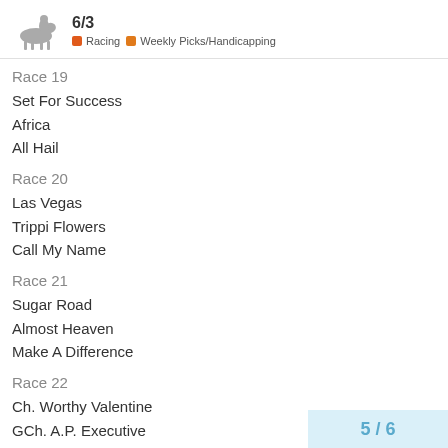6/3 | Racing | Weekly Picks/Handicapping
Race 19
Set For Success
Africa
All Hail
Race 20
Las Vegas
Trippi Flowers
Call My Name
Race 21
Sugar Road
Almost Heaven
Make A Difference
Race 22
Ch. Worthy Valentine
GCh. A.P. Executive
GCh. Black Warrior
5 / 6